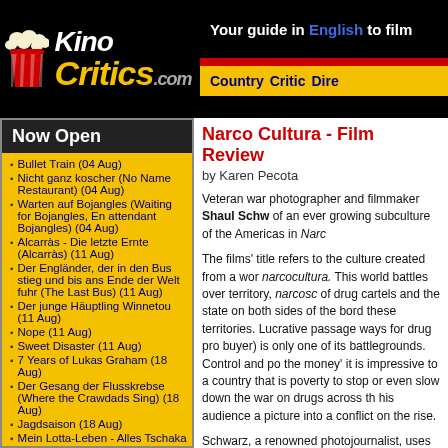[Figure (logo): KinoCritics.com logo with popcorn bucket icon on black background]
Your guide in English to film
Country  Critic  Dire
Now Open
Bullet Train (04 Aug)
Nicht ganz koscher (No Name Restaurant) (04 Aug)
Warten auf Bojangles (Waiting for Bojangles, En attendant Bojangles) (04 Aug)
Alcarràs - Die letzte Ernte (Alcarràs) (11 Aug)
Der Engländer, der in den Bus stieg und bis ans Ende der Welt fuhr (The Last Bus) (11 Aug)
Der junge Häuptling Winnetou (11 Aug)
Nope (11 Aug)
Sweet Disaster (11 Aug)
7 Years of Lukas Graham (18 Aug)
Der Gesang der Flusskrebse (Where the Crawdads Sing) (18 Aug)
Jagdsaison (18 Aug)
Mein Lotta-Leben - Alles Tschaka mit Alpaka (18 Aug)
Märzengrund (25 Aug)
Narco Cultura - Film Review
by Karen Pecota
Veteran war photographer and filmmaker Shaul Schw of an ever growing subculture of the Americas in Narc
The films' title refers to the culture created from a wor narcocultura. This world battles over territory, narcosc of drug cartels and the state on both sides of the bord these territories. Lucrative passage ways for drug pro buyer) is only one of its battlegrounds. Control and po the money' it is impressive to a country that is poverty to stop or even slow down the war on drugs across th his audience a picture into a conflict on the rise.
Schwarz, a renowned photojournalist, uses the eye o no longer be ignored. Nor will the issue the story tells as educational as it is a call to action. The answer to t
In 2008, Schwarz started his portfolio of still photogra Mexico--an area known for brutality, kidnapping and e documentation was enough. Schwarz said, "I was ove simply continuing to show pictures of death, violence a was time he put his photography into a moving picture